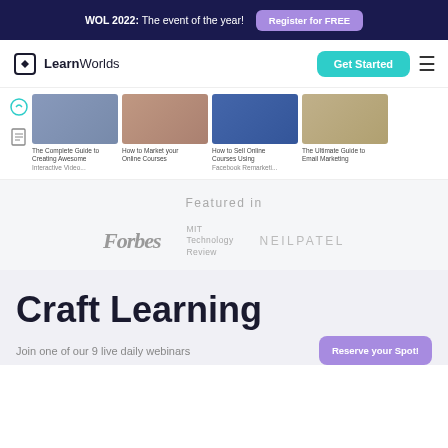WOL 2022: The event of the year! Register for FREE
[Figure (logo): LearnWorlds logo with diamond icon]
Get Started
[Figure (screenshot): Content cards showing: The Complete Guide to Creating Awesome Interactive Videos, How to Market your Online Courses, How to Sell Online Courses Using Facebook Remarketing, The Ultimate Guide to Email Marketing]
Featured in
[Figure (logo): Forbes logo]
[Figure (logo): MIT Technology Review logo]
[Figure (logo): Neil Patel logo]
Craft Learning
Join one of our 9 live daily webinars
Reserve your Spot!